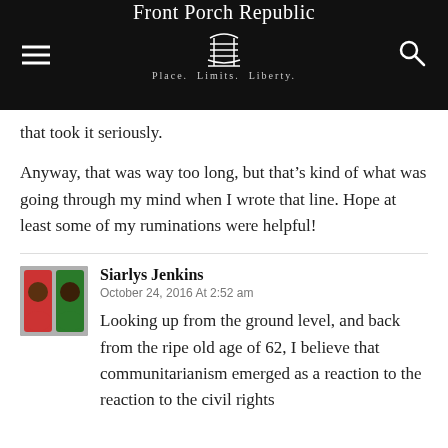Front Porch Republic — Place. Limits. Liberty.
that took it seriously.
Anyway, that was way too long, but that's kind of what was going through my mind when I wrote that line. Hope at least some of my ruminations were helpful!
Siarlys Jenkins
October 24, 2016 At 2:52 am
Looking up from the ground level, and back from the ripe old age of 62, I believe that communitarianism emerged as a reaction to the reaction to the civil rights